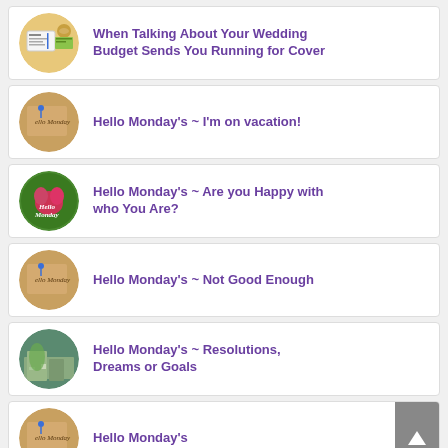When Talking About Your Wedding Budget Sends You Running for Cover
Hello Monday's ~ I'm on vacation!
Hello Monday's ~ Are you Happy with who You Are?
Hello Monday's ~ Not Good Enough
Hello Monday's ~ Resolutions, Dreams or Goals
Hello Monday's